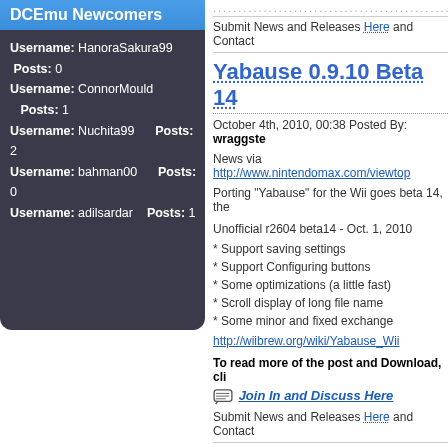DCEmu Newcomers
Username: HanoraSakura99   Posts: 0
Username: ConnorMould      Posts: 1
Username: Nuchita99        Posts: 2
Username: bahman00         Posts: 0
Username: adilsardar       Posts: 1
Submit News and Releases Here and Contact
Yabause 0.9.10 Beta 14
October 4th, 2010, 00:38 Posted By: wraggste
News via http://www.nintendomax.com/viewto
Porting "Yabause" for the Wii goes beta 14, the
Unofficial r2604 beta14 - Oct. 1, 2010
* Support saving settings
* Support Configuring buttons
* Some optimizations (a little fast)
* Scroll display of long file name
* Some minor and fixed exchange
http://wiibrew.org/wiki/Yabause_Wii
To read more of the post and Download, cli
Join In and Discuss Here
Submit News and Releases Here and Contact
"One in three households"